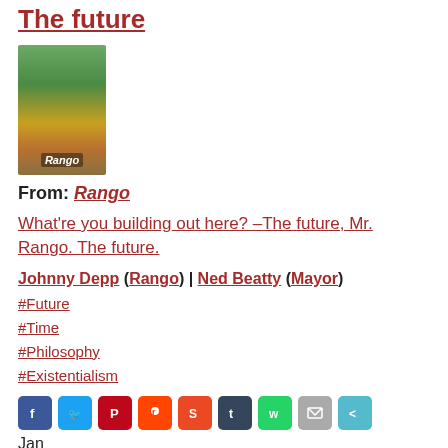The future
[Figure (photo): Movie poster for Rango animated film]
From: Rango
What're you building out here? –The future, Mr. Rango. The future.
Johnny Depp (Rango) | Ned Beatty (Mayor)
#Future
#Time
#Philosophy
#Existentialism
Jan 28 2014
It'll change a man